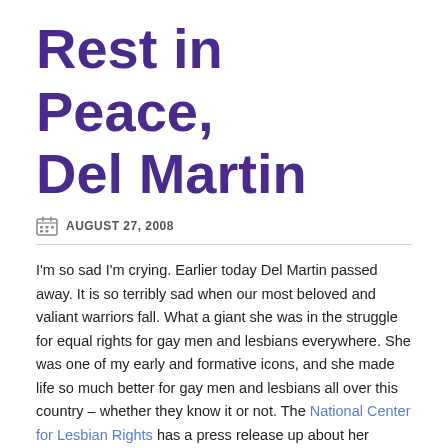Rest in Peace, Del Martin
AUGUST 27, 2008
I'm so sad I'm crying.  Earlier today Del Martin passed away. It is so terribly sad when our most beloved and valiant warriors fall. What a giant she was in the struggle for equal rights for gay men and lesbians everywhere.  She was one of my early and formative icons, and she made life so much better for gay men and lesbians all over this country – whether they know it or not.  The National Center for Lesbian Rights has a press release up about her passing.
Bless your soul, dear Del.  You will never be forgotten.  You had the fortitude to stand up for what you believed in when